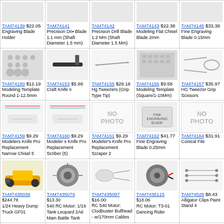| TAM74139 $22.05 Engraving Blade Holder | TAM74141 Precision Drill Blade 1.1 mm (Shaft Diameter 1.5 mm) | TAM74142 Precision Drill Blade 1.2 Mm (Shaft Diameter 1.5 Mm) | TAM74143 $22.38 Modeling Flat Chisel Blade 2mm | TAM74145 $33.38 Fine Engraving Blade 0.15mm |
| TAM74150 $12.19 Modeling Template Round 1-12.5mm | TAM74153 $5.98 Craft Knife Ii | TAM74155 $29.18 Hg Tweezers (Grip Type Tip) | TAM74156 $9.58 Modeling Template (Square/1-10Mm) | TAM74157 $35.97 HG Tweezer Grip Scissors |
| TAM74159 $9.29 Modelers Knife Pro Replacement Narrow Chisel 5 | TAM74160 $9.29 Modeler s Knife Pro Replacement Scriber (5) | TAM74161 $9.29 Modeler's Knife Pro Replacement Scraper 2 | TAM74162 $41.77 Fine Engraving Blade 0.25mm | TAM74164 $31.91 Conical File |
| TAM7435039 $244.78 1/24 Heavy Dump Truck GF01 | TAM7435079 $13.30 540 RC Motor: 1/16 Tank Leopard 2A6 Main Battle Tank | TAM7435097 $16.00 RC 540 Motor: Clodbuster Bullhead - w/170mm Cables | TAM7435115 $18.06 RC Motor: T3-01 Dancing Rider | TAM74528 $8.43 Alligator Clips Paint Stand 4 |
| TAM74548 $35.97 Spray-Work Airbrush Cleaning Kit | TAM75021 $67.00 Wind Power Generator Set | TAM75025 $68.00 Wind Up Power Generator Set - Educational Toy | TAM75026 $4.53 Mini Motor Set | TAM75027 $49.92 Line Tracing Snail ii |